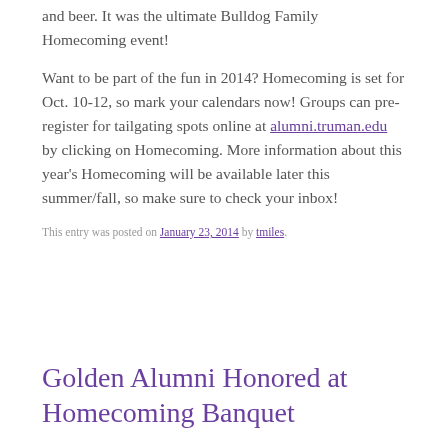and beer. It was the ultimate Bulldog Family Homecoming event!
Want to be part of the fun in 2014? Homecoming is set for Oct. 10-12, so mark your calendars now! Groups can pre-register for tailgating spots online at alumni.truman.edu by clicking on Homecoming. More information about this year’s Homecoming will be available later this summer/fall, so make sure to check your inbox!
This entry was posted on January 23, 2014 by tmiles.
Golden Alumni Honored at Homecoming Banquet